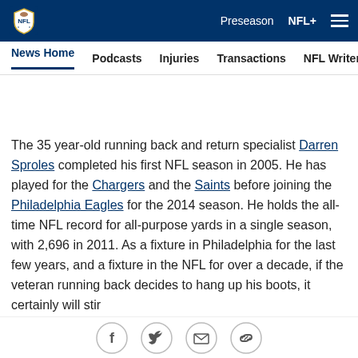NFL Navigation bar with logo, Preseason, NFL+, menu
News Home | Podcasts | Injuries | Transactions | NFL Writers | Se...
The 35 year-old running back and return specialist Darren Sproles completed his first NFL season in 2005. He has played for the Chargers and the Saints before joining the Philadelphia Eagles for the 2014 season. He holds the all-time NFL record for all-purpose yards in a single season, with 2,696 in 2011. As a fixture in Philadelphia for the last few years, and a fixture in the NFL for over a decade, if the veteran running back decides to hang up his boots, it certainly will stir...
Social share icons: Facebook, Twitter, Email, Link